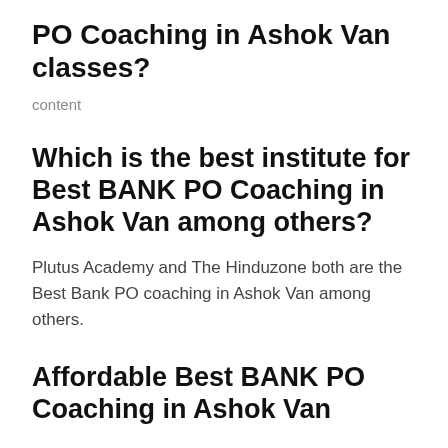PO Coaching in Ashok Van classes?
content
Which is the best institute for Best BANK PO Coaching in Ashok Van among others?
Plutus Academy and The Hinduzone both are the Best Bank PO coaching in Ashok Van among others.
Affordable Best BANK PO Coaching in Ashok Van